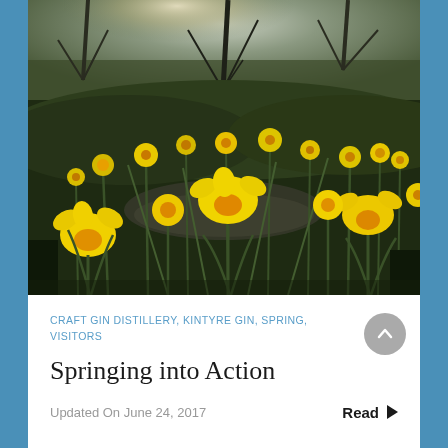[Figure (photo): Photograph of yellow daffodils in bloom with dark green stems and foliage, trees with bare branches in the background, sunlight filtering through]
CRAFT GIN DISTILLERY,  KINTYRE GIN,  SPRING,  VISITORS
Springing into Action
Updated On June 24, 2017
Read ▶